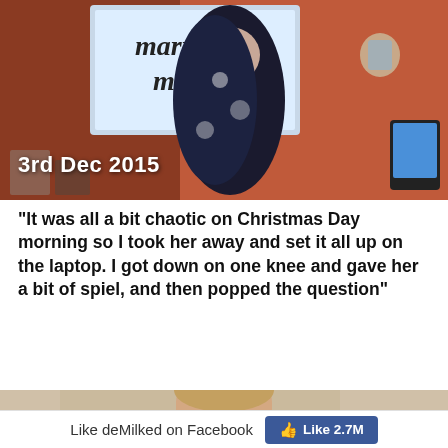[Figure (photo): A pregnant woman in a floral dress standing in front of a screen showing 'marry me', with text overlay '3rd Dec 2015' at the bottom left]
“It was all a bit chaotic on Christmas Day morning so I took her away and set it all up on the laptop. I got down on one knee and gave her a bit of spiel, and then popped the question”
[Figure (photo): Partial photo of a person, cropped, bottom portion of page]
Like deMilked on Facebook
Like 2.7M